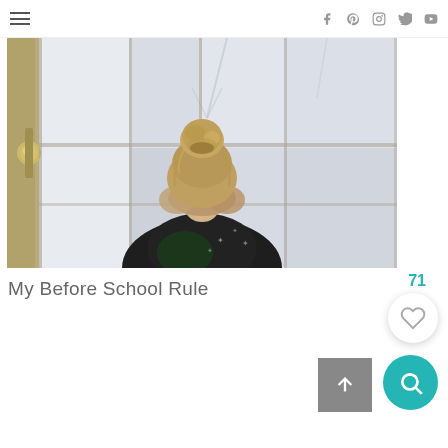Navigation menu and social icons (Facebook, Pinterest, Instagram, Twitter, YouTube)
[Figure (photo): A person with blonde hair in a bun, viewed from behind, looking out a multi-pane window. They are wearing a dark patterned jacket. A door with a brass knob is visible on the left side.]
My Before School Rule
71 likes button with heart icon
[Figure (other): Search button (teal circle with magnifying glass icon)]
[Figure (other): Scroll to top button (grey square with up arrow)]